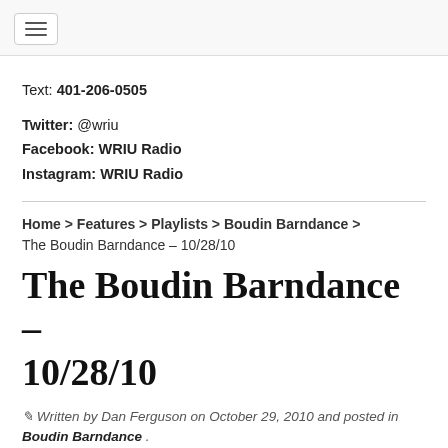[hamburger menu icon]
Text: 401-206-0505
Twitter: @wriu
Facebook: WRIU Radio
Instagram: WRIU Radio
Home > Features > Playlists > Boudin Barndance > The Boudin Barndance – 10/28/10
The Boudin Barndance – 10/28/10
Written by Dan Ferguson on October 29, 2010 and posted in Boudin Barndance .
Previous Post   Next Post